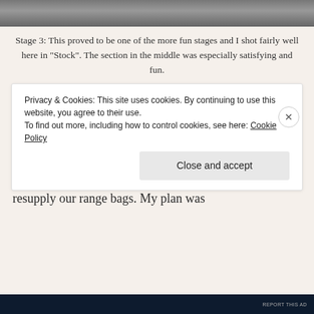[Figure (photo): Top portion of a photograph showing a textured surface, likely a shooting range or outdoor ground.]
Stage 3: This proved to be one of the more fun stages and I shot fairly well here in “Stock”. The section in the middle was especially satisfying and fun.
Advertisements
[Figure (other): Advertisement banner with dark navy background. Text reads: Opinions. We all have them! with WordPress and Fresh Voices logos.]
Stage four was our end stage for the “stock” round of our day. We went back to the car to drop stuff off and resupply our range bags. My plan was
Privacy & Cookies: This site uses cookies. By continuing to use this website, you agree to their use.
To find out more, including how to control cookies, see here: Cookie Policy